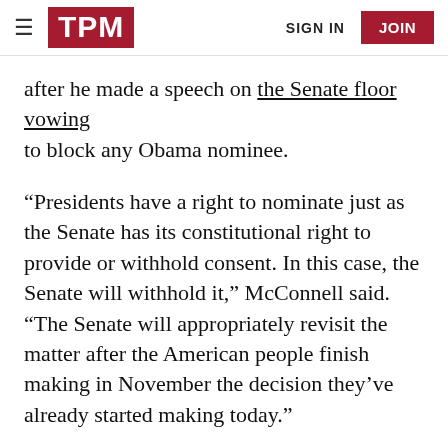TPM | SIGN IN | JOIN
after he made a speech on the Senate floor vowing to block any Obama nominee.
“Presidents have a right to nominate just as the Senate has its constitutional right to provide or withhold consent. In this case, the Senate will withhold it,” McConnell said. “The Senate will appropriately revisit the matter after the American people finish making in November the decision they’ve already started making today.”
[Figure (other): Social sharing icons: Facebook, Twitter, Email circles and a comment bubble showing 330]